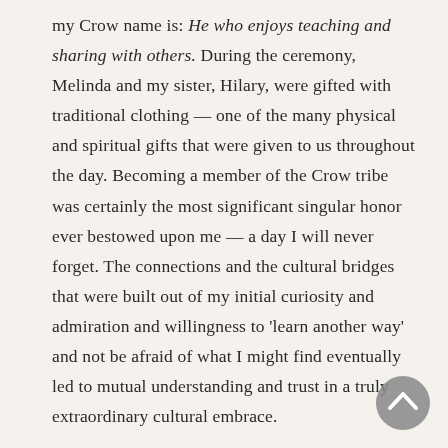my Crow name is: He who enjoys teaching and sharing with others. During the ceremony, Melinda and my sister, Hilary, were gifted with traditional clothing — one of the many physical and spiritual gifts that were given to us throughout the day. Becoming a member of the Crow tribe was certainly the most significant singular honor ever bestowed upon me — a day I will never forget. The connections and the cultural bridges that were built out of my initial curiosity and admiration and willingness to 'learn another way' and not be afraid of what I might find eventually led to mutual understanding and trust in a truly extraordinary cultural embrace.